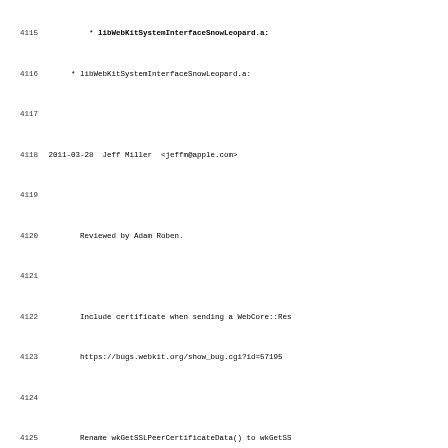Code/changelog log lines 4115-4147 showing WebKit commit log entries
4115  * libWebKitSystemInterfaceSnowLeopard.a:
4116
4117
4118 2011-03-28  Jeff Miller  <jeffm@apple.com>
4119
4120        Reviewed by Adam Roben.
4121
4122        Include certificate when sending a WebCore::Res
4123        https://bugs.webkit.org/show_bug.cgi?id=57195
4124
4125        Rename wkGetSSLPeerCertificateData() to wkGetSS
4126        implement wkGetSSLPeerCertificateData() to retu
4127        WebCore::ResourceError can set the certificate
4128
4129        * win/include/WebKitSystemInterface/WebKitSyste
4130        * win/lib/WebKitSystemInterface.lib:
4131
4132 2011-03-28  Jeff Miller  <jeffm@apple.com>
4133
4134        Rubber-stamped by Adam Roben.
4135
4136        Remove WebKitSystemInterface_debug.lib, it hasn
4137
4138        * win/lib/WebKitSystemInterface_debug.lib: Remo
4139
4140 2011-03-25  Brent Fulgham  <bfulgham@webkit.org>
4141
4142        Kick the build machines after r81977.
4143
4144        * win/tools/vsprops/common.vsprops:
4145
4146 2011-03-22  Sheriff Bot  <webkit.review.bot@gmail.com>
4147